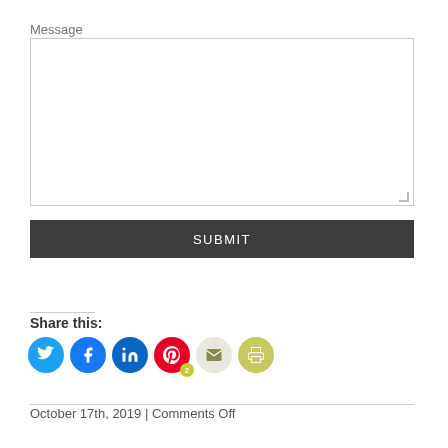Message
[Figure (screenshot): Empty message textarea input box with resize handle]
SUBMIT
Share this:
[Figure (infographic): Social share icons: Twitter (blue), Facebook (blue), LinkedIn (teal-blue), Pinterest (red) with badge 2, Email (light), Print (olive)]
October 17th, 2019 | Comments Off